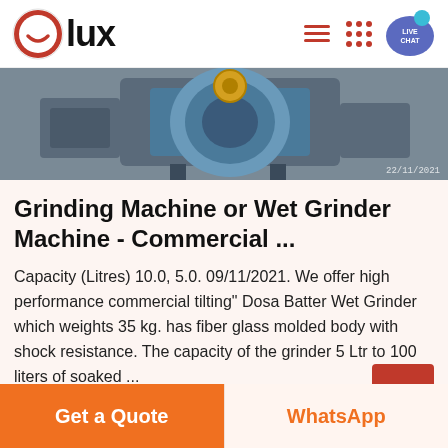[Figure (logo): Olux brand logo with red circle icon and bold 'lux' text]
[Figure (photo): Partial photo of a commercial wet grinder machine in an industrial setting]
Grinding Machine or Wet Grinder Machine - Commercial ...
Capacity (Litres) 10.0, 5.0. 09/11/2021. We offer high performance commercial tilting" Dosa Batter Wet Grinder which weights 35 kg. has fiber glass molded body with shock resistance. The capacity of the grinder 5 Ltr to 100 liters of soaked ...